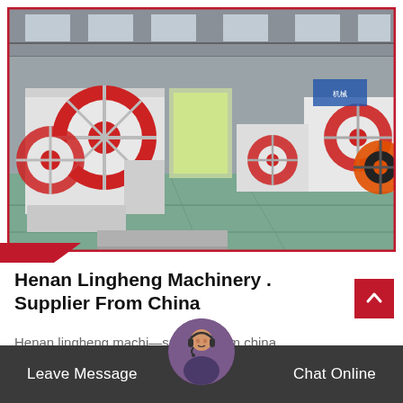[Figure (photo): Interior of a large manufacturing factory/warehouse showing industrial machinery — white and red jaw crushers and heavy equipment lined up on a green-painted floor under a high steel-truss roof. Natural light enters through large windows and an open door at the far end.]
Henan Lingheng Machinery . Supplier From China
Henan lingheng machinery supplier from china.
view company, help co- customers support.
Leave Message   Chat Online